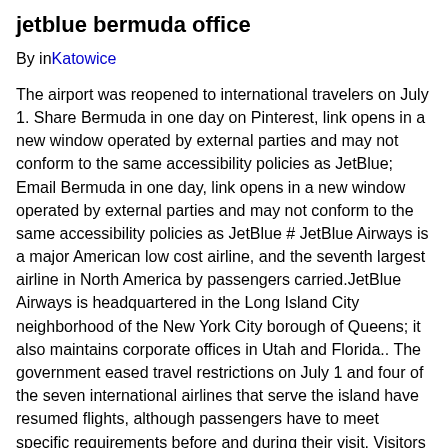jetblue bermuda office
By in Katowice
The airport was reopened to international travelers on July 1. Share Bermuda in one day on Pinterest, link opens in a new window operated by external parties and may not conform to the same accessibility policies as JetBlue; Email Bermuda in one day, link opens in a new window operated by external parties and may not conform to the same accessibility policies as JetBlue # JetBlue Airways is a major American low cost airline, and the seventh largest airline in North America by passengers carried.JetBlue Airways is headquartered in the Long Island City neighborhood of the New York City borough of Queens; it also maintains corporate offices in Utah and Florida.. The government eased travel restrictions on July 1 and four of the seven international airlines that serve the island have resumed flights, although passengers have to meet specific requirements before and during their visit. Visitors still have to comply with pre-travel and entry requirements. Sometimes, you simply don't want to be found Explore beach retreats, historic hotels and more. Over the past few years, following the success and popularity of the Boston-Bermuda flight, JetBlue has made incremental additions to their flight schedule for this route…starting the season a week earlier and pushing back the end of the season by a week or two, each year.